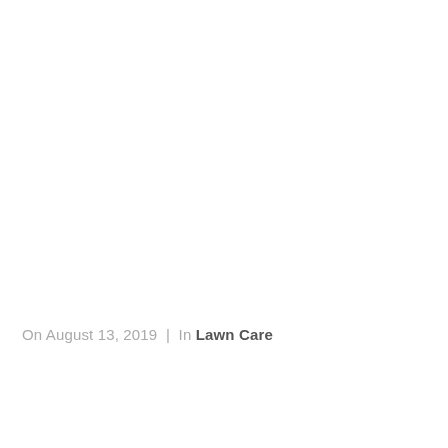On August 13, 2019  |  In Lawn Care